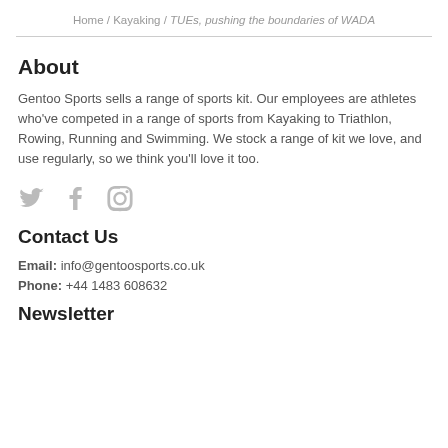Home / Kayaking / TUEs, pushing the boundaries of WADA
About
Gentoo Sports sells a range of sports kit. Our employees are athletes who've competed in a range of sports from Kayaking to Triathlon, Rowing, Running and Swimming. We stock a range of kit we love, and use regularly, so we think you'll love it too.
[Figure (illustration): Social media icons: Twitter bird, Facebook F, Instagram camera]
Contact Us
Email: info@gentoosports.co.uk
Phone: +44 1483 608632
Newsletter